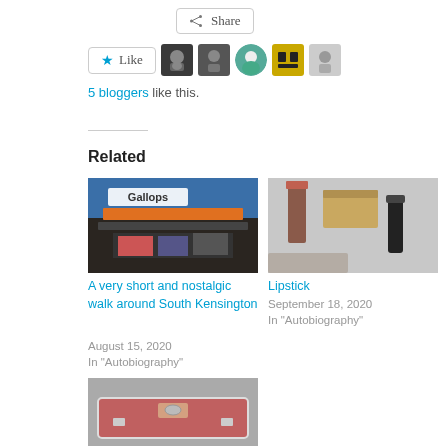Share
[Figure (other): Like button with star icon and 5 blogger avatar thumbnails]
5 bloggers like this.
Related
[Figure (photo): Photo of Gallops luggage shop exterior in South Kensington]
A very short and nostalgic walk around South Kensington
August 15, 2020
In "Autobiography"
[Figure (photo): Photo of lipstick and cosmetics on a marble surface]
Lipstick
September 18, 2020
In "Autobiography"
[Figure (photo): Photo of a red/pink leather satchel bag]